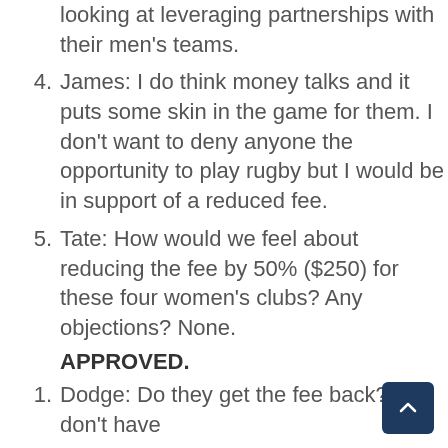looking at leveraging partnerships with their men's teams.
4. James: I do think money talks and it puts some skin in the game for them. I don't want to deny anyone the opportunity to play rugby but I would be in support of a reduced fee.
5. Tate: How would we feel about reducing the fee by 50% ($250) for these four women's clubs? Any objections? None.
APPROVED.
1. Dodge: Do they get the fee back? I don't have